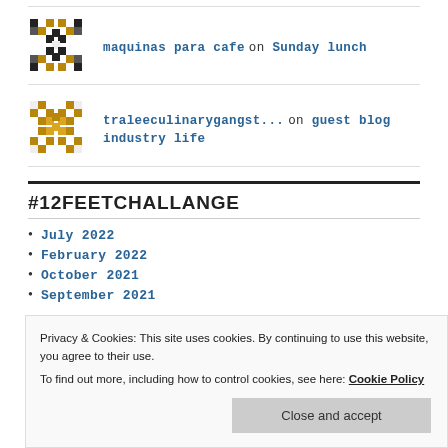[Figure (illustration): Decorative pixel/mosaic avatar icon for maquinas para cafe commenter]
maquinas para cafe on Sunday lunch
[Figure (illustration): Decorative pixel/mosaic avatar icon for traleeculinarygangst... commenter]
traleeculinarygangst... on guest blog industry life
#12FEETCHALLANGE
July 2022
February 2022
October 2021
September 2021
Privacy & Cookies: This site uses cookies. By continuing to use this website, you agree to their use.
To find out more, including how to control cookies, see here: Cookie Policy